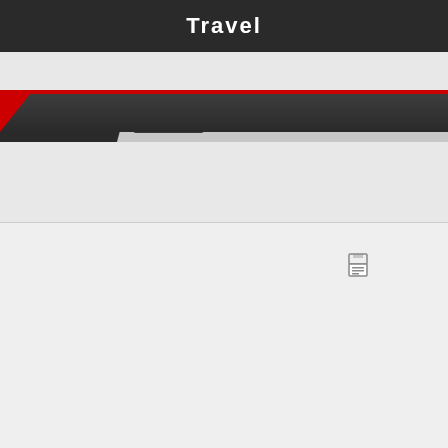Travel
BREAKING NEWS   2022-09-05  |  GETTING TO KNOW THE ORIGINAL SCARYAMM
SEARCH HERE....   Please wait a moment.......
[Figure (screenshot): Loading icon / printer icon in content area]